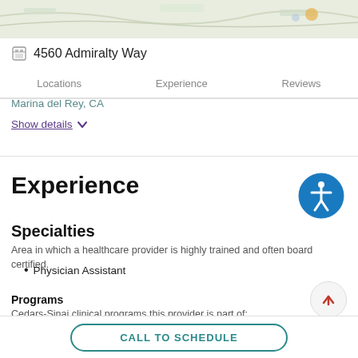[Figure (map): Partial map view at top of page]
4560 Admiralty Way
Locations   Experience   Reviews
Marina del Rey, CA
Show details
Experience
Specialties
Area in which a healthcare provider is highly trained and often board certified.
Physician Assistant
Programs
Cedars-Sinai clinical programs this provider is part of:
Urgent Care
CALL TO SCHEDULE